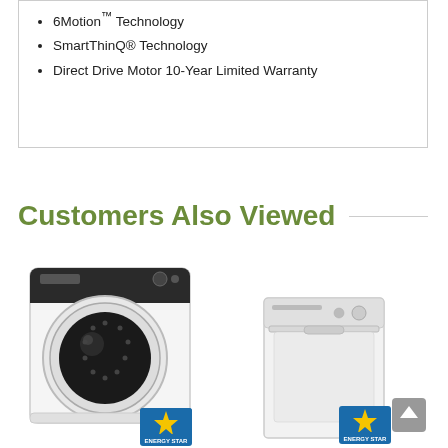6Motion™ Technology
SmartThinQ® Technology
Direct Drive Motor 10-Year Limited Warranty
Customers Also Viewed
[Figure (photo): Front-load washing machine, white, with Energy Star badge]
[Figure (photo): Top-load washing machine, white, with Energy Star badge and scroll-to-top button]